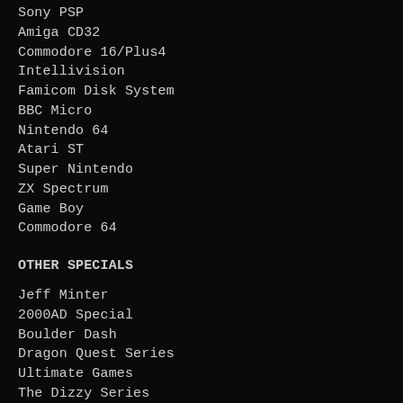Sony PSP
Amiga CD32
Commodore 16/Plus4
Intellivision
Famicom Disk System
BBC Micro
Nintendo 64
Atari ST
Super Nintendo
ZX Spectrum
Game Boy
Commodore 64
OTHER SPECIALS
Jeff Minter
2000AD Special
Boulder Dash
Dragon Quest Series
Ultimate Games
The Dizzy Series
Sonic the Hedgehog
Mega Man